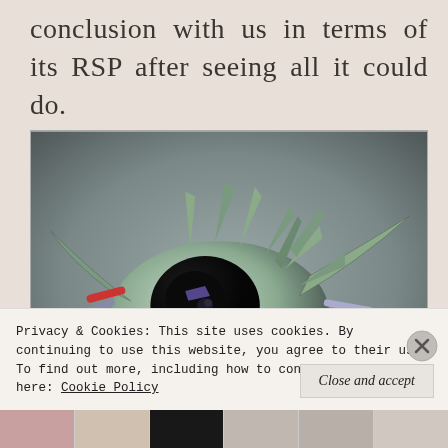conclusion with us in terms of its RSP after seeing all it could do.
[Figure (photo): A green/teal sci-fi spacecraft or mecha toy/model photographed against a grey background, showing complex angular shapes with many protruding parts and weapons.]
Privacy & Cookies: This site uses cookies. By continuing to use this website, you agree to their use.
To find out more, including how to control cookies, see here: Cookie Policy
Close and accept